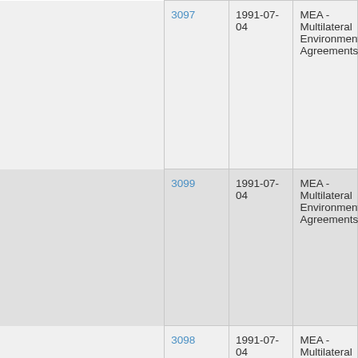| 3097 | 1991-07-04 | MEA - Multilateral Environmental Agreements |
| 3099 | 1991-07-04 | MEA - Multilateral Environmental Agreements |
| 3098 | 1991-07-04 | MEA - Multilateral |